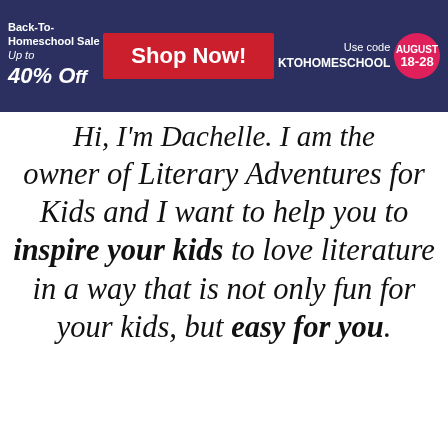[Figure (screenshot): Back-To-Homeschool Sale banner with red 'Shop Now!' button, 'Up to 40% off' text, 'Use code KTOHOMESCHOOL', and pink August 18-28 badge on dark navy background]
Hi, I'm Dachelle. I am the owner of Literary Adventures for Kids and I want to help you to inspire your kids to love literature in a way that is not only fun for your kids, but easy for you.